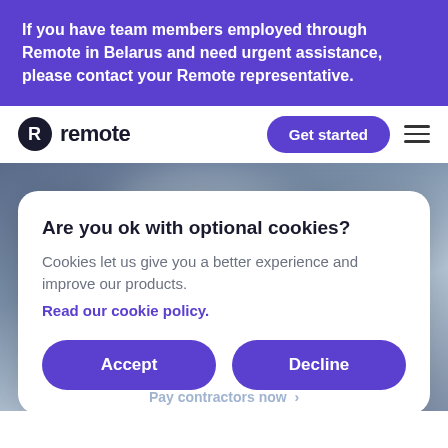If you have team members employed through Remote in Belarus and need urgent assistance, please contact your Remote representative.
[Figure (logo): Remote company logo with R icon and 'remote' text, plus 'Get started' button and hamburger menu in navigation bar]
[Figure (screenshot): Cookie consent modal dialog with title 'Are you ok with optional cookies?', body text, a cookie policy link, and Accept/Decline buttons overlaid on a blurred background image]
Are you ok with optional cookies?
Cookies let us give you a better experience and improve our products.
Read our cookie policy.
Accept
Decline
Pay contractors now >